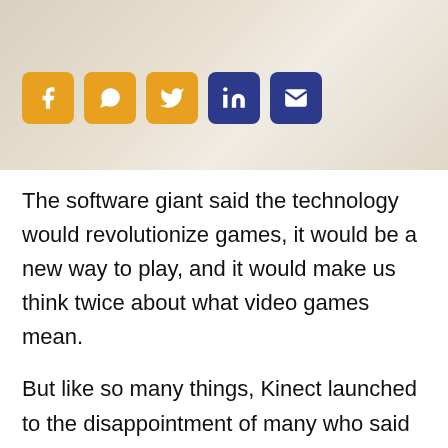[Figure (photo): Top portion of a photo showing white fabric/clothing, with social media sharing icons (Facebook, WhatsApp, Twitter, LinkedIn, Email) overlaid on the bottom left of the image.]
The software giant said the technology would revolutionize games, it would be a new way to play, and it would make us think twice about what video games mean.
But like so many things, Kinect launched to the disappointment of many who said all that lofty PR speak was just hype. Kinect ended up being nothing more than Microsoft's version of the Wii Remote, with mini-games and extremely casual adventures taking up nearly every Kinect shelf in stores.